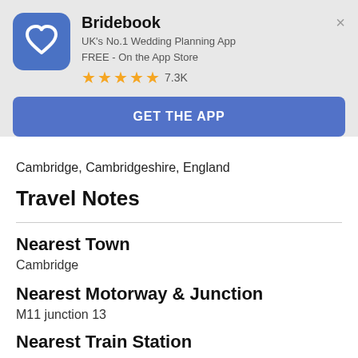[Figure (logo): Bridebook app icon: blue rounded square with white heart outline]
Bridebook
UK's No.1 Wedding Planning App
FREE - On the App Store
★★★★★ 7.3K
GET THE APP
Cambridge, Cambridgeshire, England
Travel Notes
Nearest Town
Cambridge
Nearest Motorway & Junction
M11 junction 13
Nearest Train Station